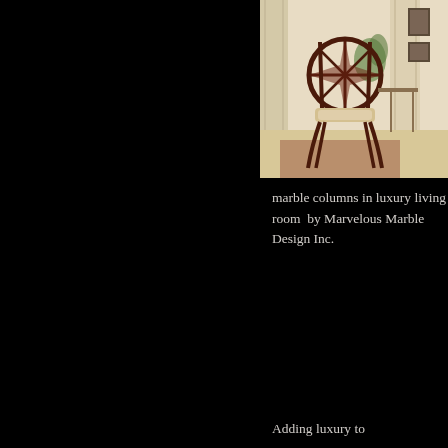[Figure (photo): An elegant dark wood chair with circular back featuring a star/web pattern and cushioned seat, positioned in front of marble columns in a luxury living room interior.]
marble columns in luxury living room by Marvelous Marble Design Inc.
Adding luxury to